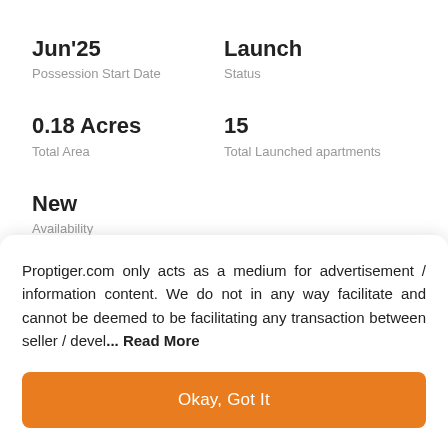Jun'25
Possession Start Date
Launch
Status
0.18 Acres
Total Area
15
Total Launched apartments
New
Availability
Proptiger.com only acts as a medium for advertisement / information content. We do not in any way facilitate and cannot be deemed to be facilitating any transaction between seller / devel... Read More
Okay, Got It